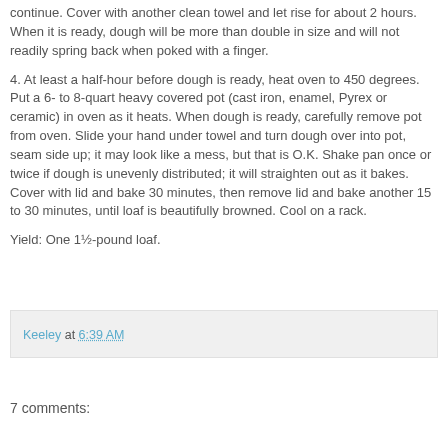continue. Cover with another clean towel and let rise for about 2 hours. When it is ready, dough will be more than double in size and will not readily spring back when poked with a finger.
4. At least a half-hour before dough is ready, heat oven to 450 degrees. Put a 6- to 8-quart heavy covered pot (cast iron, enamel, Pyrex or ceramic) in oven as it heats. When dough is ready, carefully remove pot from oven. Slide your hand under towel and turn dough over into pot, seam side up; it may look like a mess, but that is O.K. Shake pan once or twice if dough is unevenly distributed; it will straighten out as it bakes. Cover with lid and bake 30 minutes, then remove lid and bake another 15 to 30 minutes, until loaf is beautifully browned. Cool on a rack.
Yield: One 1½-pound loaf.
Keeley at 6:39 AM
7 comments: